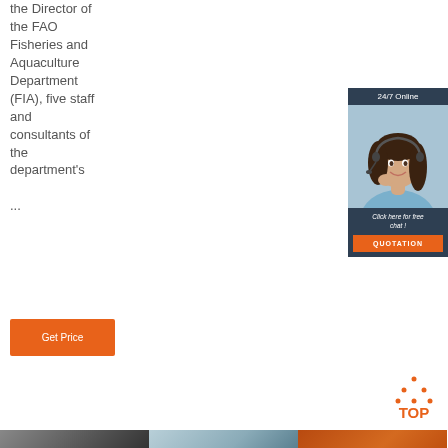the Director of the FAO Fisheries and Aquaculture Department (FIA), five staff and consultants of the department's ...
[Figure (photo): Advertisement banner with a woman wearing a headset smiling, '24/7 Online' header, 'Click here for free chat!' text, and orange QUOTATION button]
[Figure (other): Orange 'Get Price' button]
[Figure (logo): TOP icon with orange dotted triangle and orange text 'TOP']
[Figure (photo): Three small thumbnail images at the bottom of the page showing industrial/manufacturing scenes]